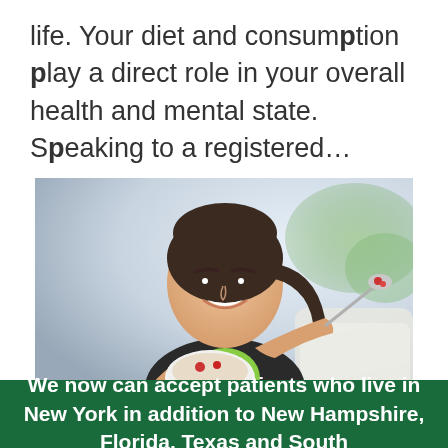life. Your diet and consumption play a direct role in your overall health and mental state. Speaking to a registered…
[Figure (photo): A smiling young woman in athletic wear holding a white bowl and a spoon with food, photographed in a bright indoor setting.]
We now can accept patients who live in New York in addition to New Hampshire, Florida, Texas and South Carolina.